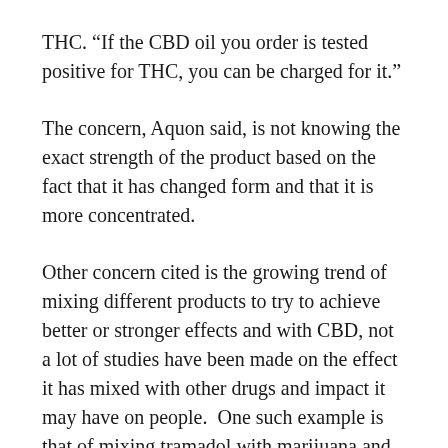THC.  “If the CBD oil you order is tested positive for THC, you can be charged for it.”
The concern, Aquon said, is not knowing the exact strength of the product based on the fact that it has changed form and that it is more concentrated.
Other concern cited is the growing trend of mixing different products to try to achieve better or stronger effects and with CBD, not a lot of studies have been made on the effect it has mixed with other drugs and impact it may have on people.  One such example is that of mixing tramadol with marijuana and with vaping.